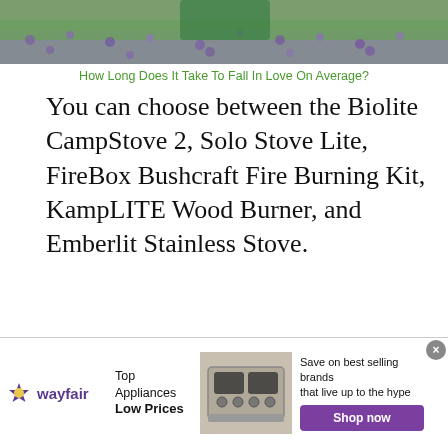[Figure (photo): Top portion of a photo showing a person in a green outfit in a field of purple wildflowers]
How Long Does It Take To Fall In Love On Average?
You can choose between the Biolite CampStove 2, Solo Stove Lite, FireBox Bushcraft Fire Burning Kit, KampLITE Wood Burner, and Emberlit Stainless Stove.
And many more exceptional options.
In This Article:  [ hide ]
I)  BioLite CampStove 2 – Best Overall
II) The Solo Stove Lite – One of the Lightest
[Figure (screenshot): Wayfair advertisement banner showing Top Appliances Low Prices with a stove image and Shop now button]